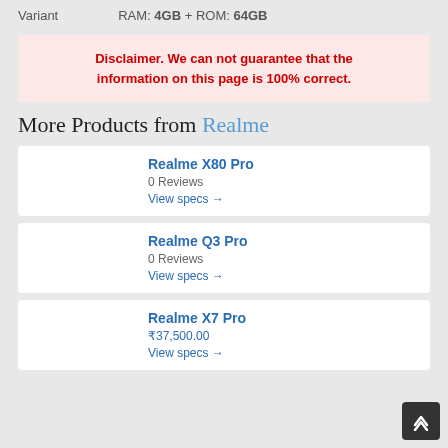Variant   RAM: 4GB + ROM: 64GB
Disclaimer. We can not guarantee that the information on this page is 100% correct.
More Products from Realme
Realme X80 Pro
0 Reviews
View specs →
Realme Q3 Pro
0 Reviews
View specs →
Realme X7 Pro
₹37,500.00
View specs →